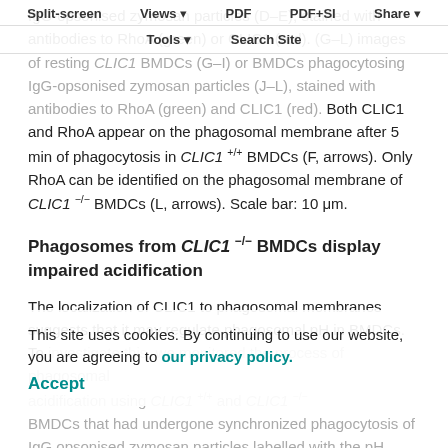IgG-opsonised zymosan particles (D–E), stained with antibodies to RhoA (green) or CLIC1 (red). (G–L) Images of resting CLIC1 BMDCs (G–I) or BMDCs phagocytosing IgG-opsonised zymosan particles (J–L), stained with antibodies to RhoA (green) and CLIC1 (red). Both CLIC1 and RhoA appear on the phagosomal membrane after 5 min of phagocytosis in CLIC1 +/+ BMDCs (F, arrows). Only RhoA can be identified on the phagosomal membrane of CLIC1 −/− BMDCs (L, arrows). Scale bar: 10 μm.
Split-screen | Views | PDF | PDF+SI | Share | Tools | Search Site
Phagosomes from CLIC1 −/− BMDCs display impaired acidification
The localization of CLIC1 to phagosomal membranes suggests that it may regulate phagosomal pH in BMDCs. To investigate this, we monitored the process of phagosomal acidification using CLIC1 +/+ and CLIC1 −/− BMDCs that had undergone synchronized phagocytosis of IgG opsonised zymosan particles labelled with the pH
This site uses cookies. By continuing to use our website, you are agreeing to our privacy policy. Accept